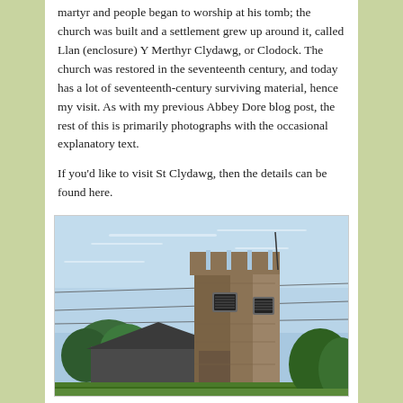martyr and people began to worship at his tomb; the church was built and a settlement grew up around it, called Llan (enclosure) Y Merthyr Clydawg, or Clodock. The church was restored in the seventeenth century, and today has a lot of seventeenth-century surviving material, hence my visit. As with my previous Abbey Dore blog post, the rest of this is primarily photographs with the occasional explanatory text.
If you'd like to visit St Clydawg, then the details can be found here.
[Figure (photo): Photograph of St Clydawg church showing a stone tower with battlements against a blue sky, with the nave roof and trees visible]